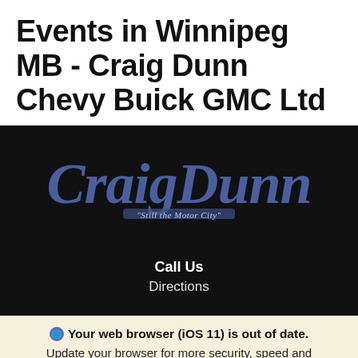Events in Winnipeg MB - Craig Dunn Chevy Buick GMC Ltd
[Figure (logo): Craig Dunn 'Still the Motor City' logo in blue script on black background, with 'Call Us' and 'Directions' links below]
Your web browser (iOS 11) is out of date. Update your browser for more security, speed and the best experience on this site.
Update browser  Ignore